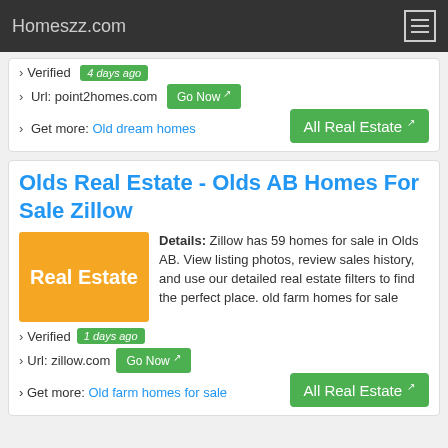Homeszz.com
› Verified 4 days ago
› Url: point2homes.com Go Now
› Get more: Old dream homes   All Real Estate
Olds Real Estate - Olds AB Homes For Sale Zillow
Details: Zillow has 59 homes for sale in Olds AB. View listing photos, review sales history, and use our detailed real estate filters to find the perfect place. old farm homes for sale
› Verified 1 days ago
› Url: zillow.com Go Now
› Get more: Old farm homes for sale   All Real Estate